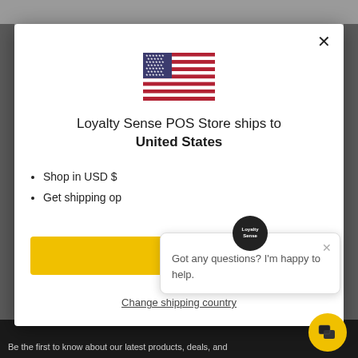[Figure (screenshot): Modal dialog showing US flag, shipping destination message, bullet list, yellow button, and change shipping country link. A Loyalty Sense chat popup is overlaid in the bottom right.]
Loyalty Sense POS Store ships to United States
Shop in USD $
Get shipping op[tions for United States]
S[hop Now]
Change shipping country
Got any questions? I'm happy to help.
Be the first to know about our latest products, deals, and